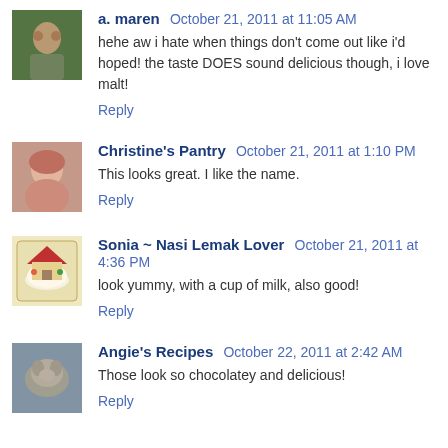[Figure (photo): Avatar photo of a. maren - person outdoors]
a. maren  October 21, 2011 at 11:05 AM
hehe aw i hate when things don't come out like i'd hoped! the taste DOES sound delicious though, i love malt!
Reply
[Figure (photo): Avatar photo of Christine's Pantry - woman smiling]
Christine's Pantry  October 21, 2011 at 1:10 PM
This looks great. I like the name.
Reply
[Figure (illustration): Avatar icon for Sonia ~ Nasi Lemak Lover - cartoon food illustration]
Sonia ~ Nasi Lemak Lover  October 21, 2011 at 4:36 PM
look yummy, with a cup of milk, also good!
Reply
[Figure (photo): Avatar photo of Angie's Recipes - cat/animal photo]
Angie's Recipes  October 22, 2011 at 2:42 AM
Those look so chocolatey and delicious!
Reply